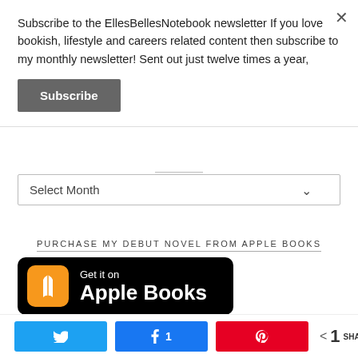Subscribe to the EllesBellesNotebook newsletter If you love bookish, lifestyle and careers related content then subscribe to my monthly newsletter! Sent out just twelve times a year,
Subscribe
Select Month
PURCHASE MY DEBUT NOVEL FROM APPLE BOOKS
[Figure (logo): Get it on Apple Books badge — black rounded rectangle with orange book icon and white text]
[Figure (infographic): Social share bar with Twitter, Facebook (1 share), Pinterest buttons and share count showing 1 SHARES]